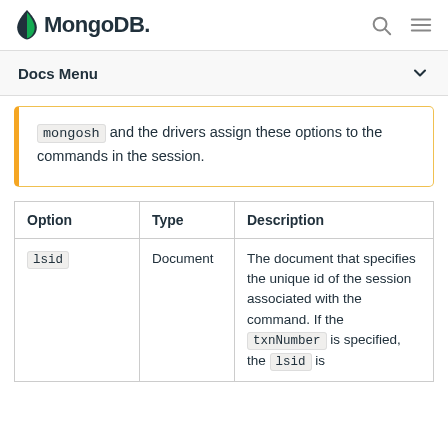MongoDB
Docs Menu
mongosh and the drivers assign these options to the commands in the session.
| Option | Type | Description |
| --- | --- | --- |
| lsid | Document | The document that specifies the unique id of the session associated with the command. If the txnNumber is specified, the lsid is |